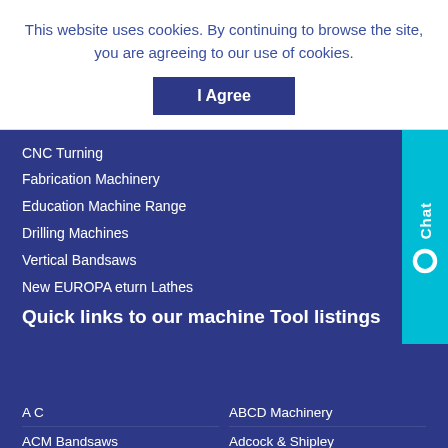This website uses cookies. By continuing to browse the site, you are agreeing to our use of cookies.
I Agree
CNC Turning
Fabrication Machinery
Education Machine Range
Drilling Machines
Vertical Bandsaws
New EUROPA eturn Lathes
Quick links to our machine Tool listings
A C
ABCD Machinery
ACM Bandsaws
Adcock & Shipley
Addison Saws
Adira
Ajax
Almco
Call Now 01322 447611